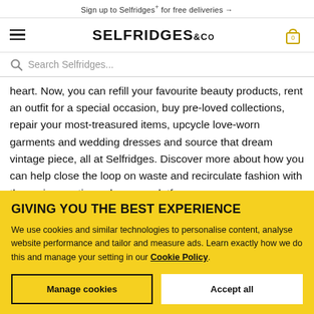Sign up to Selfridges+ for free deliveries →
[Figure (screenshot): Selfridges & Co logo with hamburger menu and cart icon]
Search Selfridges...
heart. Now, you can refill your favourite beauty products, rent an outfit for a special occasion, buy pre-loved collections, repair your most-treasured items, upcycle love-worn garments and wedding dresses and source that dream vintage piece, all at Selfridges. Discover more about how you can help close the loop on waste and recirculate fashion with the various options along our platform
GIVING YOU THE BEST EXPERIENCE
We use cookies and similar technologies to personalise content, analyse website performance and tailor and measure ads. Learn exactly how we do this and manage your setting in our Cookie Policy.
Manage cookies
Accept all